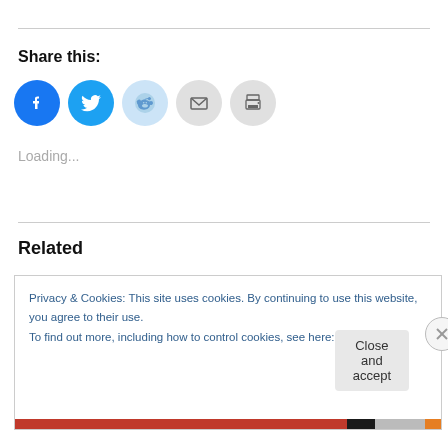Share this:
[Figure (infographic): Row of social sharing icon buttons: Facebook (blue circle), Twitter (light blue circle), Reddit (light blue circle), Email (gray circle), Print (gray circle)]
Loading...
Related
Privacy & Cookies: This site uses cookies. By continuing to use this website, you agree to their use.
To find out more, including how to control cookies, see here: Cookie Policy
Close and accept